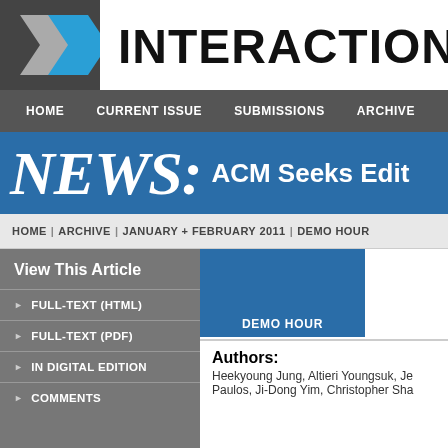[Figure (logo): IX Interactions magazine logo with stylized X in blue and gray, followed by bold black text INTERACTIONS]
HOME | CURRENT ISSUE | SUBMISSIONS | ARCHIVE
NEWS: ACM Seeks Edit
HOME | ARCHIVE | JANUARY + FEBRUARY 2011 | DEMO HOUR
View This Article
FULL-TEXT (HTML)
FULL-TEXT (PDF)
IN DIGITAL EDITION
COMMENTS
[Figure (other): Blue box with DEMO HOUR label]
Authors: Heekyoung Jung, Altieri Youngsuk, Je... Paulos, Ji-Dong Yim, Christopher Sha...